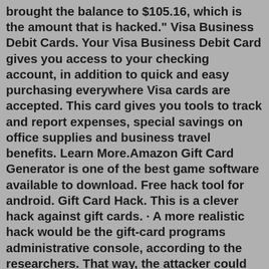brought the balance to $105.16, which is the amount that is hacked." Visa Business Debit Cards. Your Visa Business Debit Card gives you access to your checking account, in addition to quick and easy purchasing everywhere Visa cards are accepted. This card gives you tools to track and report expenses, special savings on office supplies and business travel benefits. Learn More.Amazon Gift Card Generator is one of the best game software available to download. Free hack tool for android. Gift Card Hack. This is a clever hack against gift cards. · A more realistic hack would be the gift-card programs administrative console, according to the researchers. That way, the attacker could set the balance of the card, for example.Get unlimited gift card code generator 2017 using this latest 100% working free amazon gift codes produces online application. This tool can instantly add new unused free amazon gift codes to your amazon ID.Jan 27, 2019 · Contact the retailer immediately upon noticing the card missing to cancel the card and find out the process for getting a new one. If you don't how the